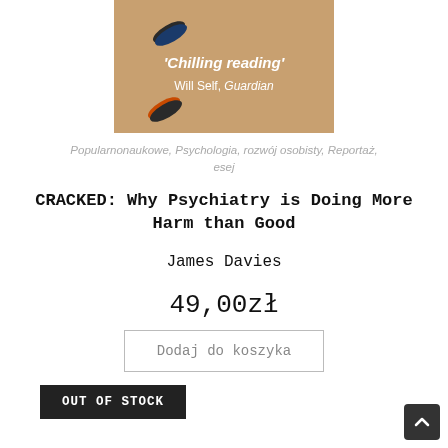[Figure (photo): Book cover of CRACKED: Why Psychiatry is Doing More Harm than Good by James Davies, with quote 'Chilling reading' Will Self, Guardian on a brown/beige background with pills]
Popularnonaukowe, Psychologia, rozwój osobisty, Reportaż, esej
CRACKED: Why Psychiatry is Doing More Harm than Good
James Davies
49,00zł
Dodaj do koszyka
OUT OF STOCK